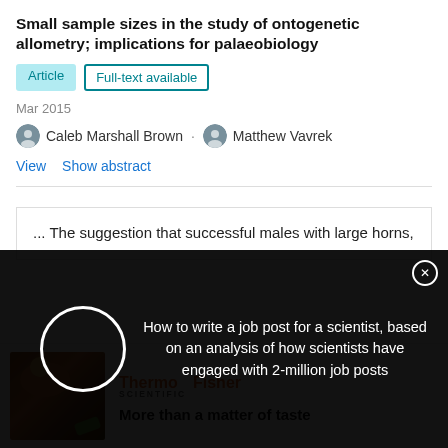Small sample sizes in the study of ontogenetic allometry; implications for palaeobiology
Article   Full-text available
Mar 2015
Caleb Marshall Brown · Matthew Vavrek
View   Show abstract
... The suggestion that successful males with large horns,
[Figure (screenshot): Dark overlay popup with a circle spinner and text: 'How to write a job post for a scientist, based on an analysis of how scientists have engaged with 2-million job posts']
[Figure (photo): Thermo Fisher Scientific advertisement showing food image with text 'More than a matter of taste']